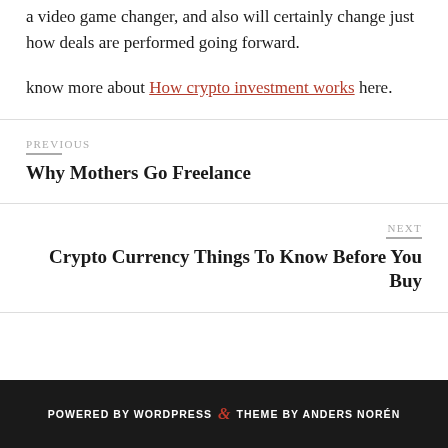a video game changer, and also will certainly change just how deals are performed going forward.
know more about How crypto investment works here.
PREVIOUS
Why Mothers Go Freelance
NEXT
Crypto Currency Things To Know Before You Buy
POWERED BY WORDPRESS & THEME BY ANDERS NORÉN